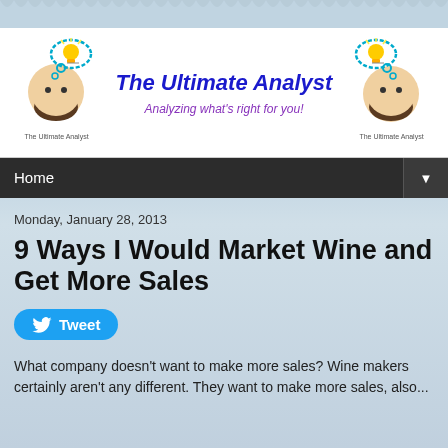[Figure (illustration): Sky background with clouds and globe, zigzag border at top]
The Ultimate Analyst — Analyzing what's right for you!
Home
Monday, January 28, 2013
9 Ways I Would Market Wine and Get More Sales
Tweet
What company doesn't want to make more sales?  Wine makers certainly aren't any different.  They want to make more sales, also...